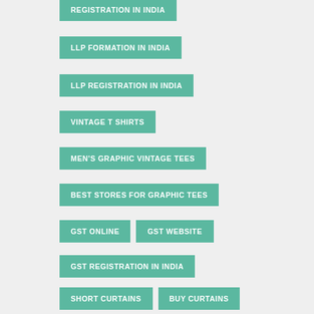REGISTRATION IN INDIA
LLP FORMATION IN INDIA
LLP REGISTRATION IN INDIA
VINTAGE T SHIRTS
MEN'S GRAPHIC VINTAGE TEES
BEST STORES FOR GRAPHIC TEES
GST ONLINE
GST WEBSITE
GST REGISTRATION IN INDIA
SHORT CURTAINS
BUY CURTAINS
CUSTOM DRAPES
SUBMIT PATENT APPLICATION ONLINE IN INDIA
ONLINE PATENT FILING IN INDIA
FILE A PATENT APPLICATION ONLINE IN INDIA